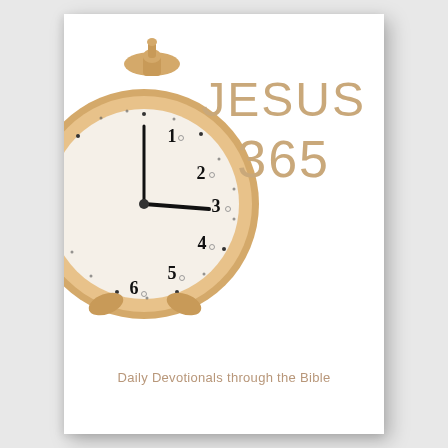[Figure (illustration): Book cover showing a gold/tan retro alarm clock on the left side, partially cropped, with clock face showing numbers 1-6, white background]
JESUS 365
Daily Devotionals through the Bible